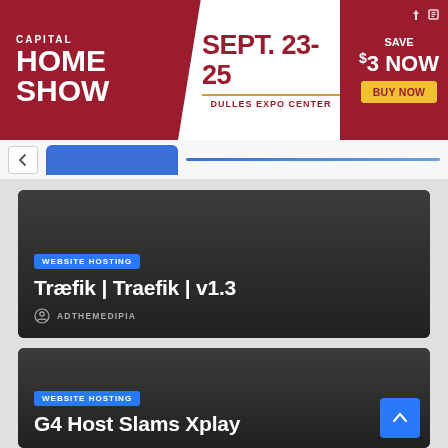[Figure (infographic): Capital Home Show advertisement banner. Dark red/crimson background. Left section: 'CAPITAL HOME SHOW' in white bold text. Middle white diagonal section: 'SEPT. 23-25' in large dark red text, gold underline, 'DULLES EXPO CENTER' below. Right section: 'SAVE $3 NOW' in white, yellow 'BUY NOW' button.]
[Figure (screenshot): Browser navigation bar area with back chevron arrow on left, blue active tab in center-left, and blue horizontal line extending to right.]
[Figure (screenshot): Dark card UI element with 'WEBSITE HOSTING' blue badge, title 'Træfik | Traefik | v1.3' in white, and author 'ADTHEMEDIPIA' with person icon.]
[Figure (screenshot): Dark card UI element (partially visible) with 'WEBSITE HOSTING' blue badge and partial title 'G4 Host Slams Xplay' in white. Blue scroll-to-top button in bottom right corner.]